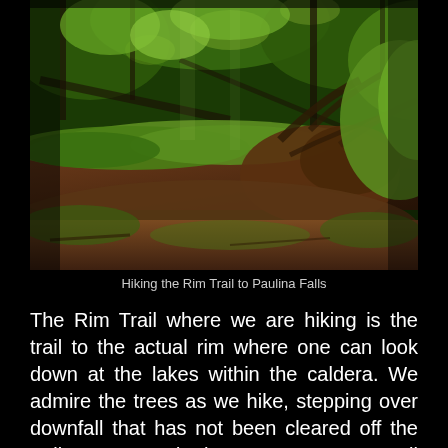[Figure (photo): A fallen moss-covered log in a lush green forest with sunlight filtering through the tree canopy. The log is large and partially decomposed, with roots visible and green vegetation surrounding it.]
Hiking the Rim Trail to Paulina Falls
The Rim Trail where we are hiking is the trail to the actual rim where one can look down at the lakes within the caldera. We admire the trees as we hike, stepping over downfall that has not been cleared off the trail. Here and there we cross small patches of snow, a reminder of the winter that almost happened in central Oregon. Oregon has also been suffering from the west coast